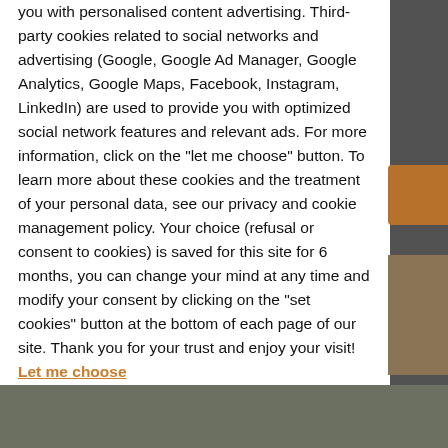you with personalised content advertising. Third-party cookies related to social networks and advertising (Google, Google Ad Manager, Google Analytics, Google Maps, Facebook, Instagram, LinkedIn) are used to provide you with optimized social network features and relevant ads. For more information, click on the "let me choose" button. To learn more about these cookies and the treatment of your personal data, see our privacy and cookie management policy. Your choice (refusal or consent to cookies) is saved for this site for 6 months, you can change your mind at any time and modify your consent by clicking on the "set cookies" button at the bottom of each page of our site. Thank you for your trust and enjoy your visit! Let me choose
Accept all
Refuse all